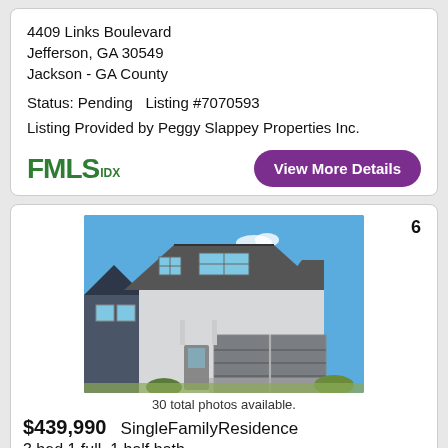4409 Links Boulevard
Jefferson, GA 30549
Jackson - GA County
Status: Pending  Listing #7070593
Listing Provided by Peggy Slappey Properties Inc.
[Figure (logo): FMLS IDX logo in green]
View More Details
6
[Figure (photo): Two-story single family residence with gray siding, dark roof, three-car garage, blue sky background]
30 total photos available.
$439,990  SingleFamilyResidence
3 bed 1 full, 1 half bath